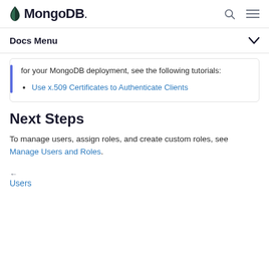MongoDB
Docs Menu
for your MongoDB deployment, see the following tutorials:
Use x.509 Certificates to Authenticate Clients
Next Steps
To manage users, assign roles, and create custom roles, see Manage Users and Roles.
← Users